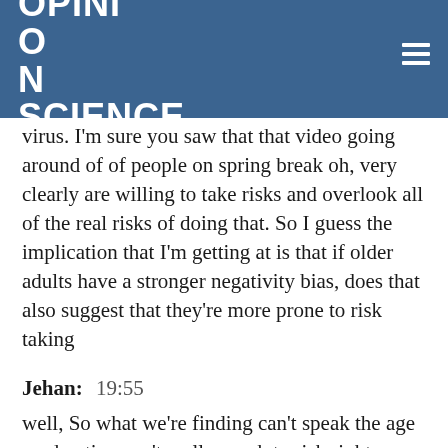OPINION SCIENCE
virus. I'm sure you saw that that video going around of of people on spring break oh, very clearly are willing to take risks and overlook all of the real risks of doing that. So I guess the implication that I'm getting at is that if older adults have a stronger negativity bias, does that also suggest that they're more prone to risk taking
Jehan:  19:55
well, So what we're finding can't speak the age moderation can't really speak to risk right now just because we haven't have some other work